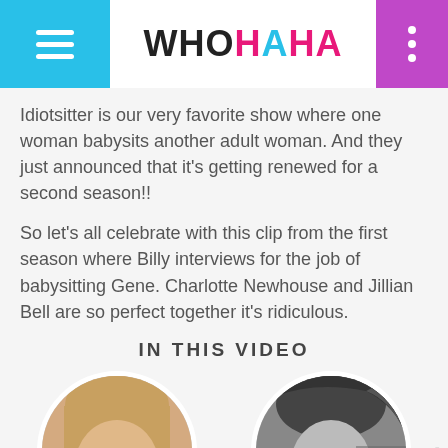WHOHAHA
Idiotsitter is our very favorite show where one woman babysits another adult woman. And they just announced that it's getting renewed for a second season!!
So let's all celebrate with this clip from the first season where Billy interviews for the job of babysitting Gene. Charlotte Newhouse and Jillian Bell are so perfect together it's ridiculous.
IN THIS VIDEO
[Figure (photo): Two circular portrait photos side by side. Left: color photo of a young blonde woman. Right: black and white photo of a woman smiling with windswept hair.]